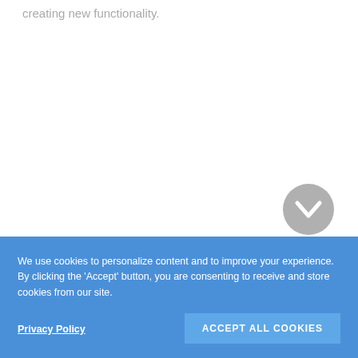creating new functionality.
[Figure (other): A circular grey button with a downward-pointing chevron (v-shape) icon in the center, used as a scroll-down or expand control.]
We use cookies to personalize content and to improve your experience. By clicking the 'Accept' button, you are consenting to receive and store cookies from our site.
Privacy Policy
ACCEPT ALL COOKIES